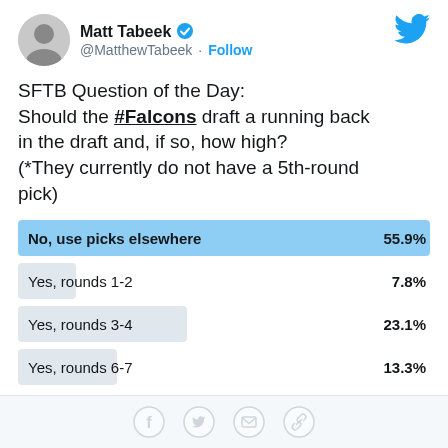Matt Tabeek @MatthewTabeek · Follow
SFTB Question of the Day:
Should the #Falcons draft a running back in the draft and, if so, how high?
(*They currently do not have a 5th-round pick)
[Figure (bar-chart): Twitter Poll Results]
3,831 votes · Final results
12:16 PM · Feb 6, 2018